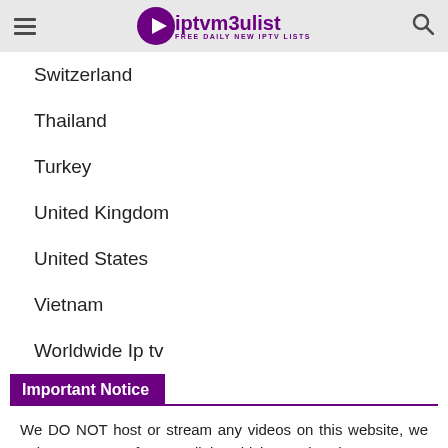iptvmeulist FREE DAILY NEW IPTV LISTS
Switzerland
Thailand
Turkey
United Kingdom
United States
Vietnam
Worldwide Ip tv
Important Notice
We DO NOT host or stream any videos on this website, we only RE-SHARE free Iptv links which are already on net. We urge all copyright owners, to recognise that links contained within this site are located somewhere else on the web. Please